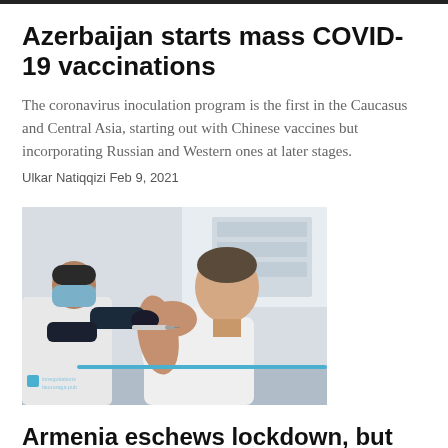Azerbaijan starts mass COVID-19 vaccinations
The coronavirus inoculation program is the first in the Caucasus and Central Asia, starting out with Chinese vaccines but incorporating Russian and Western ones at later stages.
Ulkar Natiqqizi Feb 9, 2021
[Figure (photo): A healthcare worker in a mask and dark gloves administers a vaccine injection into the upper arm of a man in a white t-shirt who is seated and looking down.]
Armenia eschews lockdown, but enjoys COVID reprieve